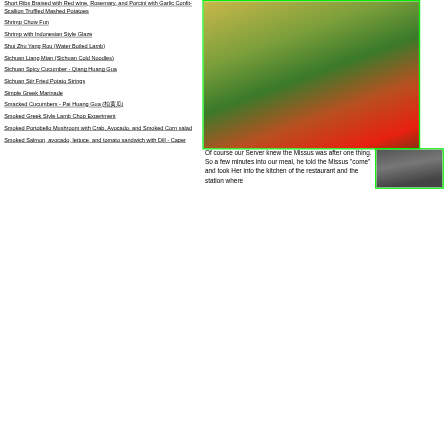Short Ribs Braised with Red wine, Rosemary, and Porcini with Garlic Confit-Scallion Truffled Mashed Potatoes
Shrimp Chow Fun
Shrimp with Indonesian Style Glaze
Shui Zhu Yang Rou (Water Boiled Lamb)
Sichuan Liang Mian (Sichuan Cold Noodles)
Sichuan Spicy Cucumber - Qiang Huang Gua
Sichuan Stir Fried Potato Strings
Simple Greek Marinade
Smacked Cucumbers - Pai Huang Gua (拍黄瓜)
Smoked Greek Style Lamb Chop Experiment
Smoked Portobello Mushroom with Crab, Avocado, and Smoked Corn salad
Smoked Salmon, avocado, lettuce, and tomato sandwich with Dill - Caper
[Figure (photo): A plate with herb-covered rolled food items (crepes or wraps) garnished with green herbs, alongside roasted tomatoes, served on a white plate with blue rim]
Of course our Server knew the Missus was after one thing. So a few minutes into our meal, he told the Missus "come" and took Her into the kitchen of the restaurant and the station where
[Figure (photo): A dark interior photo showing what appears to be a kitchen or restaurant setting]